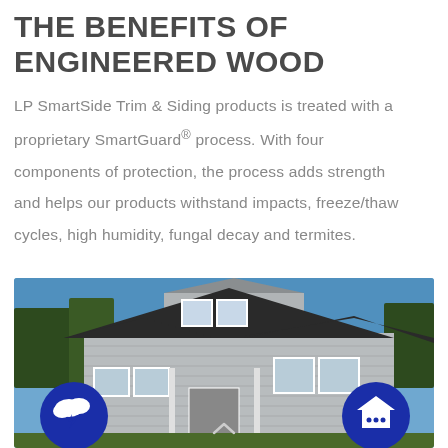THE BENEFITS OF ENGINEERED WOOD
LP SmartSide Trim & Siding products is treated with a proprietary SmartGuard® process. With four components of protection, the process adds strength and helps our products withstand impacts, freeze/thaw cycles, high humidity, fungal decay and termites.
[Figure (photo): Exterior photo of a large two-story craftsman-style house with gray lap siding, black roof, white trim, and front porch. Two circular blue icon buttons overlay the photo on the lower left (storm cloud/lightning icon) and lower right (house with speech bubble icon). A chevron-up arrow appears in the center-bottom area of the photo.]